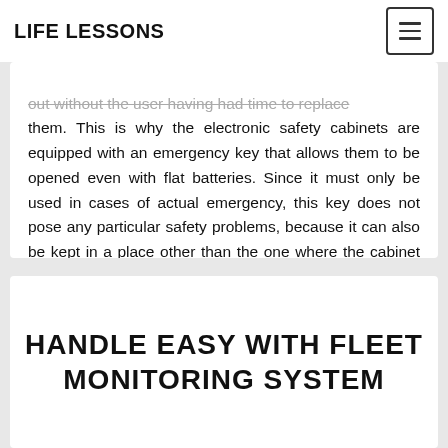LIFE LESSONS
out without the user having had time to replace them. This is why the electronic safety cabinets are equipped with an emergency key that allows them to be opened even with flat batteries. Since it must only be used in cases of actual emergency, this key does not pose any particular safety problems, because it can also be kept in a place other than the one where the cabinet is located (the important thing is not to keep it inside the cabinet itself!).
HANDLE EASY WITH FLEET MONITORING SYSTEM